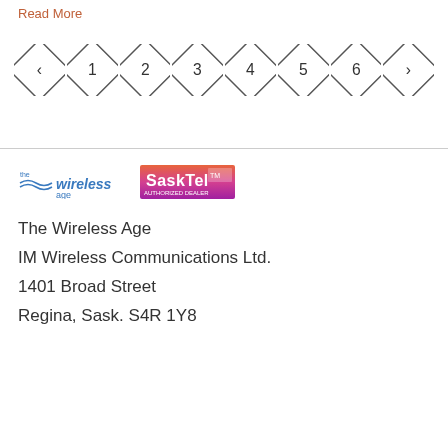Read More
[Figure (other): Pagination controls with diamond-shaped buttons: left arrow, 1, 2, 3, 4, 5, 6, right arrow]
[Figure (logo): The Wireless Age logo with SaskTel Authorized Dealer badge]
The Wireless Age
IM Wireless Communications Ltd.
1401 Broad Street
Regina, Sask. S4R 1Y8